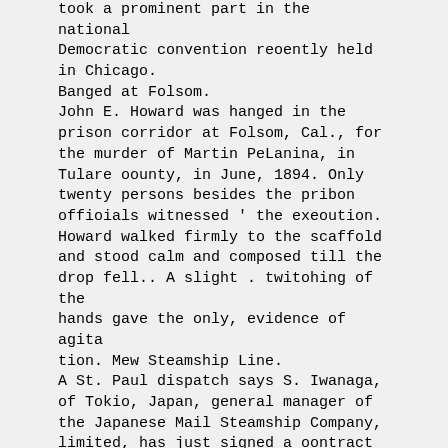took a prominent part in the national Democratic convention reoently held in Chicago.
Banged at Folsom.
John E. Howard was hanged in the prison corridor at Folsom, Cal., for the murder of Martin PeLanina, in Tulare oounty, in June, 1894. Only twenty persons besides the pribon offioials witnessed ' the exeoution. Howard walked firmly to the scaffold and stood calm and composed till the drop fell.. A slight . twitohing of the hands gave the only, evidence of agita tion. Mew Steamship Line.
A St. Paul dispatch says S. Iwanaga, of Tokio, Japan, general manager of the Japanese Mail Steamship Company, limited, has just signed a oontract with the Great Northern Railway Company for the establishment of a steamship line between Tokio and Seattle. Thus the Great Northern system extends its operations into the far , east, and its bills of lading are in force from Tokio